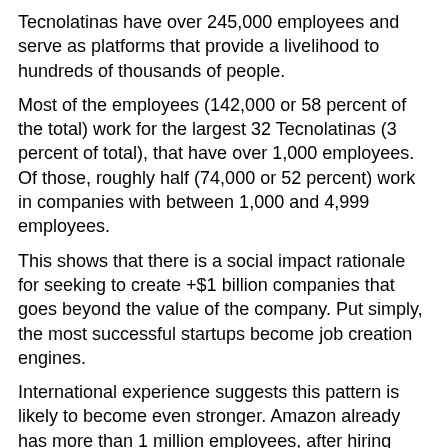Tecnolatinas have over 245,000 employees and serve as platforms that provide a livelihood to hundreds of thousands of people.
Most of the employees (142,000 or 58 percent of the total) work for the largest 32 Tecnolatinas (3 percent of total), that have over 1,000 employees. Of those, roughly half (74,000 or 52 percent) work in companies with between 1,000 and 4,999 employees.
This shows that there is a social impact rationale for seeking to create +$1 billion companies that goes beyond the value of the company. Put simply, the most successful startups become job creation engines.
International experience suggests this pattern is likely to become even stronger. Amazon already has more than 1 million employees, after hiring more than 400,000 people in 2020 alone.
Six LAC countries with companies worth over $1B
There are already 28 companies worth over $1 billon (up from 9 only four years ago) in LAC, proving beyond doubt that Latin Americans can create large technology companies at scale, something that never happened in the history of the region and highlights that it can take part in the unfolding